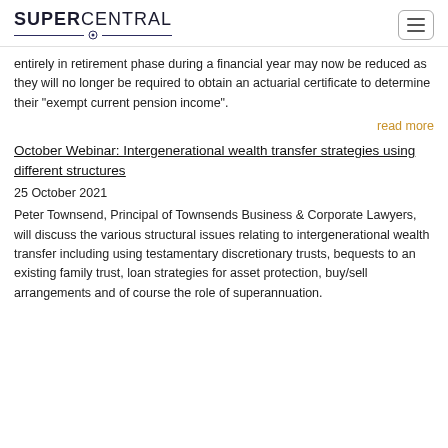SUPERCENTRAL
entirely in retirement phase during a financial year may now be reduced as they will no longer be required to obtain an actuarial certificate to determine their "exempt current pension income".
read more
October Webinar: Intergenerational wealth transfer strategies using different structures
25 October 2021
Peter Townsend, Principal of Townsends Business & Corporate Lawyers, will discuss the various structural issues relating to intergenerational wealth transfer including using testamentary discretionary trusts, bequests to an existing family trust, loan strategies for asset protection, buy/sell arrangements and of course the role of superannuation.